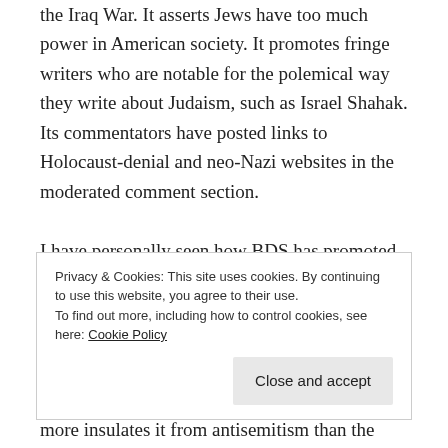the Iraq War. It asserts Jews have too much power in American society. It promotes fringe writers who are notable for the polemical way they write about Judaism, such as Israel Shahak. Its commentators have posted links to Holocaust-denial and neo-Nazi websites in the moderated comment section.
I have personally seen how BDS has promoted antisemitic activity on campus at my alma mater, Vassar, where the campus SJP tweeted out neo-Nazi literature. and promoted the accusation on
Privacy & Cookies: This site uses cookies. By continuing to use this website, you agree to their use.
To find out more, including how to control cookies, see here: Cookie Policy
Close and accept
more insulates it from antisemitism than the